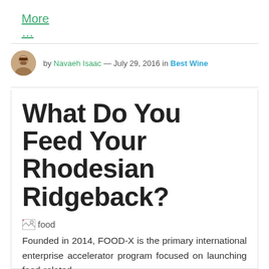More …
by Navaeh Isaac — July 29, 2016 in Best Wine
What Do You Feed Your Rhodesian Ridgeback?
[Figure (photo): Broken image placeholder labeled 'food']
Founded in 2014, FOOD-X is the primary international enterprise accelerator program focused on launching food-related